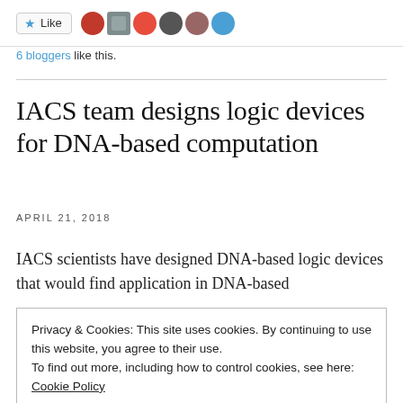[Figure (other): Like button with star icon and 6 blogger avatars]
6 bloggers like this.
IACS team designs logic devices for DNA-based computation
APRIL 21, 2018
IACS scientists have designed DNA-based logic devices that would find application in DNA-based
Privacy & Cookies: This site uses cookies. By continuing to use this website, you agree to their use.
To find out more, including how to control cookies, see here: Cookie Policy
(INHIBIT-INHIBIT and NOR-OR) by using